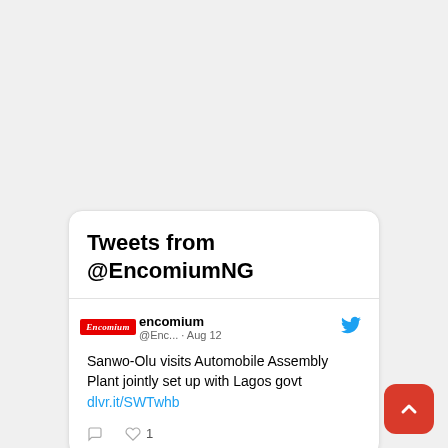Tweets from @EncomiumNG
encomium @Enc... · Aug 12
Sanwo-Olu visits Automobile Assembly Plant jointly set up with Lagos govt dlvr.it/SWTwhb